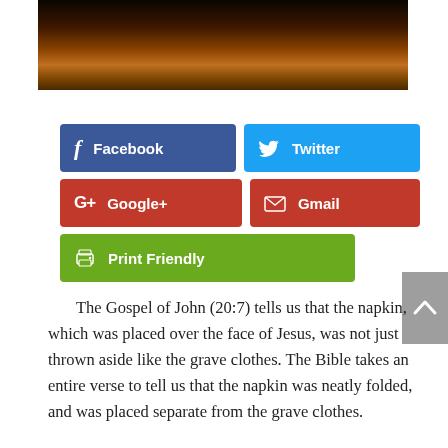[Figure (photo): Dark image with orange and brown tones, partially visible at top of page]
[Figure (infographic): Social media share buttons: Facebook (dark blue), Twitter (light blue), Google+ (red), Gmail (red), Print Friendly (green)]
The Gospel of John (20:7) tells us that the napkin, which was placed over the face of Jesus, was not just thrown aside like the grave clothes. The Bible takes an entire verse to tell us that the napkin was neatly folded, and was placed separate from the grave clothes.